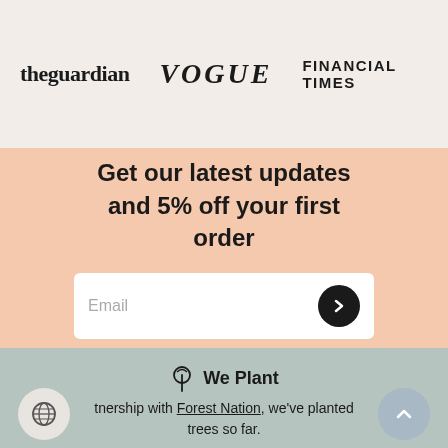[Figure (logo): Publication logos: theguardian, VOGUE, FINANCIAL TIMES]
Get our latest updates and 5% off your first order
[Figure (infographic): Email input field with submit arrow button]
We Plant
tnership with Forest Nation, we've planted trees so far.